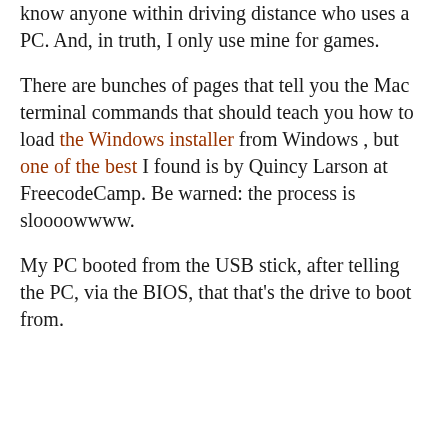know anyone within driving distance who uses a PC. And, in truth, I only use mine for games.
There are bunches of pages that tell you the Mac terminal commands that should teach you how to load the Windows installer from Windows , but one of the best I found is by Quincy Larson at FreecodeCamp. Be warned: the process is sloooowwww.
My PC booted from the USB stick, after telling the PC, via the BIOS, that that's the drive to boot from.